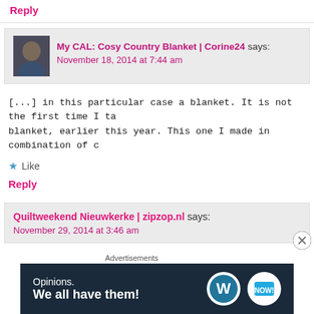Reply
My CAL: Cosy Country Blanket | Corine24 says:
November 18, 2014 at 7:44 am
[...] in this particular case a blanket. It is not the first time I ta blanket, earlier this year. This one I made in combination of c
★ Like
Reply
Quiltweekend Nieuwkerke | zipzop.nl says:
November 29, 2014 at 3:46 am
[...] liikt ( klik hier om er een filmpie van te zien) En ze hee
Advertisements
Opinions. We all have them!